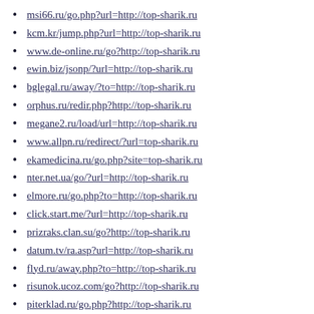msi66.ru/go.php?url=http://top-sharik.ru
kcm.kr/jump.php?url=http://top-sharik.ru
www.de-online.ru/go?http://top-sharik.ru
ewin.biz/jsonp/?url=http://top-sharik.ru
bglegal.ru/away/?to=http://top-sharik.ru
orphus.ru/redir.php?http://top-sharik.ru
megane2.ru/load/url=http://top-sharik.ru
www.allpn.ru/redirect/?url=top-sharik.ru
ekamedicina.ru/go.php?site=top-sharik.ru
nter.net.ua/go/?url=http://top-sharik.ru
elmore.ru/go.php?to=http://top-sharik.ru
click.start.me/?url=http://top-sharik.ru
prizraks.clan.su/go?http://top-sharik.ru
datum.tv/ra.asp?url=http://top-sharik.ru
flyd.ru/away.php?to=http://top-sharik.ru
risunok.ucoz.com/go?http://top-sharik.ru
piterklad.ru/go.php?http://top-sharik.ru
www.google.ca/url?q=http://top-sharik.ru
letssearch.com/?domainname=top-sharik.ru